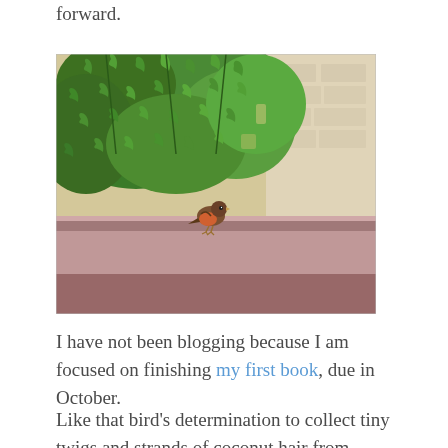forward.
[Figure (photo): A robin bird perched on the edge of a wooden bench or rail, with ivy-covered wall in the background]
I have not been blogging because I am focused on finishing my first book, due in October.
Like that bird's determination to collect tiny twigs and strands of coconut hair from